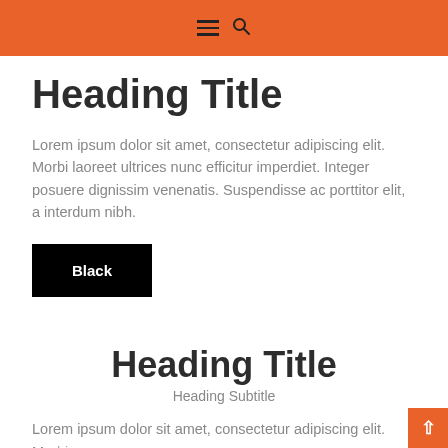☰ 🔍
Heading Title
Lorem ipsum dolor sit amet, consectetur adipiscing elit. Morbi laoreet ultrices nunc efficitur imperdiet. Integer posuere dignissim venenatis. Suspendisse ac porttitor elit, a interdum nibh.
Black
Heading Title
Heading Subtitle
Lorem ipsum dolor sit amet, consectetur adipiscing elit. Morbi laoreet ultrices nunc efficitur imperdiet. Integer posuere